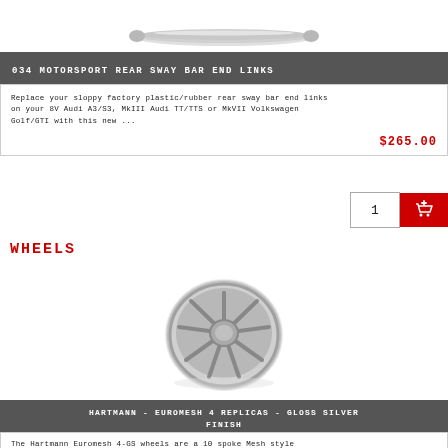[Figure (photo): 034 Motorsport rear sway bar end links product photo - elongated metal bar shape on white background]
034 MOTORSPORT REAR SWAY BAR END LINKS
Replace your sloppy factory plastic/rubber rear sway bar end links on your 8V Audi A3/S3, MkIII Audi TT/TTS or MkVII Volkswagen Golf/GTI with this new ...
$265.00
WHEELS
[Figure (photo): Hartmann Euromesh 4-GS wheel - silver/grey multi-spoke alloy wheel, gloss silver finish, viewed at slight angle]
HARTMANN - EUROMESH 4 REPLICAS - GLOSS SILVER FINISH
The Hartmann Euromesh 4-GS wheels are a 10 spoke Mesh style wheel. The Euromesh 4-GS wheel accepts an OEM VW centercap